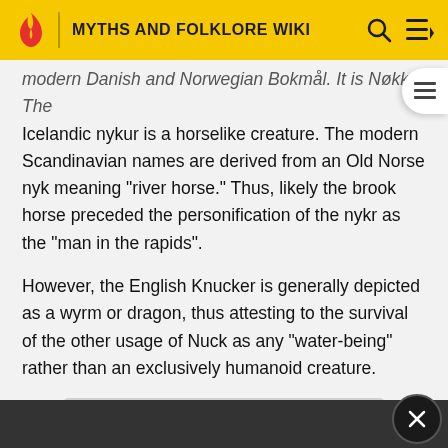MYTHS AND FOLKLORE WIKI
modern Danish and Norwegian Bokmål. It is Nøkk. The Icelandic nykur is a horselike creature. The modern Scandinavian names are derived from an Old Norse nyk meaning "river horse." Thus, likely the brook horse preceded the personification of the nykr as the "man in the rapids".
However, the English Knucker is generally depicted as a wyrm or dragon, thus attesting to the survival of the other usage of Nuck as any "water-being" rather than an exclusively humanoid creature.
[Figure (photo): Gray image placeholder rectangle]